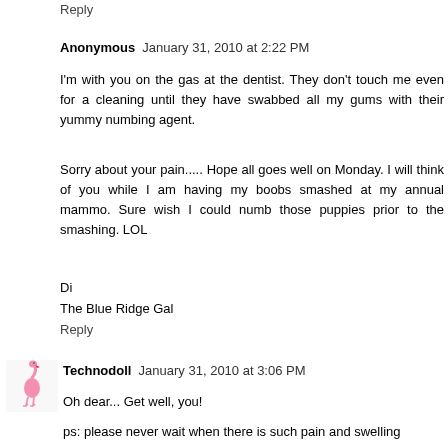Reply
Anonymous  January 31, 2010 at 2:22 PM
I'm with you on the gas at the dentist. They don't touch me even for a cleaning until they have swabbed all my gums with their yummy numbing agent.
Sorry about your pain..... Hope all goes well on Monday. I will think of you while I am having my boobs smashed at my annual mammo. Sure wish I could numb those puppies prior to the smashing. LOL
Di
The Blue Ridge Gal
Reply
Technodoll  January 31, 2010 at 3:06 PM
Oh dear... Get well, you!
ps: please never wait when there is such pain and swelling